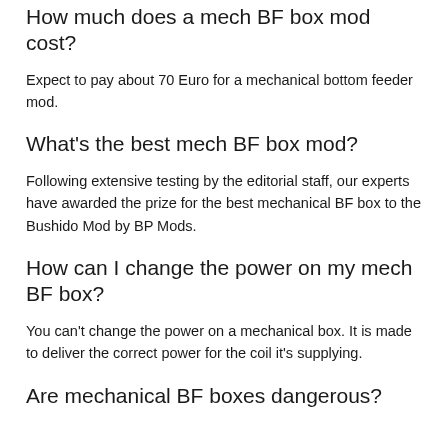How much does a mech BF box mod cost?
Expect to pay about 70 Euro for a mechanical bottom feeder mod.
What's the best mech BF box mod?
Following extensive testing by the editorial staff, our experts have awarded the prize for the best mechanical BF box to the Bushido Mod by BP Mods.
How can I change the power on my mech BF box?
You can't change the power on a mechanical box. It is made to deliver the correct power for the coil it's supplying.
Are mechanical BF boxes dangerous?